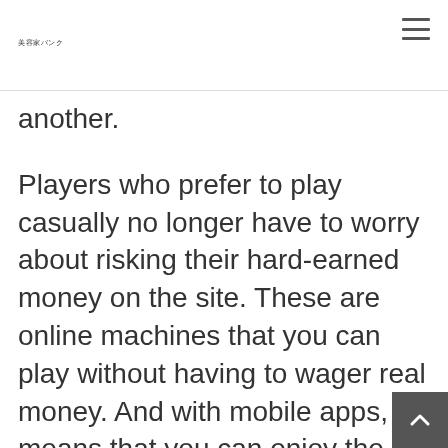美容家バンク
another.
Players who prefer to play casually no longer have to worry about risking their hard-earned money on the site. These are online machines that you can play without having to wager real money. And with mobile apps, it means that you can enjoy the best titles in the industry anytime and anywhere. Currently, we do not have any progressive jackpot slots for you to play on in their demo mode. Software